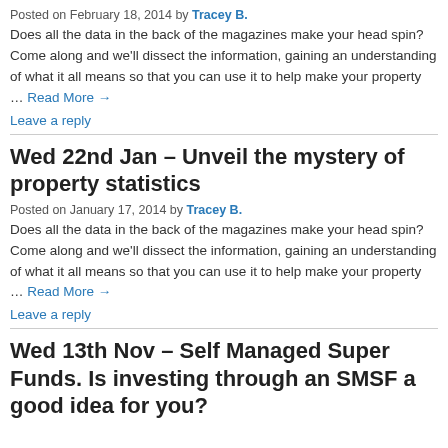Posted on February 18, 2014 by Tracey B.
Does all the data in the back of the magazines make your head spin? Come along and we'll dissect the information, gaining an understanding of what it all means so that you can use it to help make your property … Read More →
Leave a reply
Wed 22nd Jan – Unveil the mystery of property statistics
Posted on January 17, 2014 by Tracey B.
Does all the data in the back of the magazines make your head spin? Come along and we'll dissect the information, gaining an understanding of what it all means so that you can use it to help make your property … Read More →
Leave a reply
Wed 13th Nov – Self Managed Super Funds. Is investing through an SMSF a good idea for you?